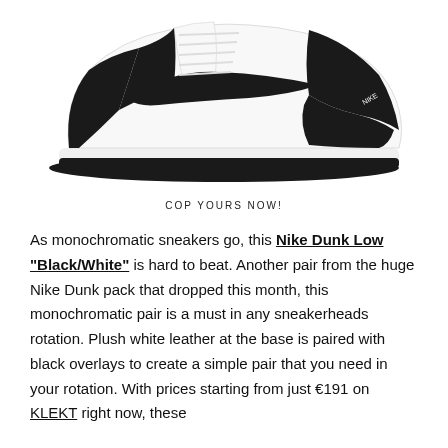[Figure (photo): Nike Dunk Low Black/White sneaker shoe product photo on white background, side profile view showing black and white leather colorway with black Swoosh logo and black rubber outsole.]
COP YOURS NOW!
As monochromatic sneakers go, this Nike Dunk Low "Black/White" is hard to beat. Another pair from the huge Nike Dunk pack that dropped this month, this monochromatic pair is a must in any sneakerheads rotation. Plush white leather at the base is paired with black overlays to create a simple pair that you need in your rotation. With prices starting from just €191 on KLEKT right now, these